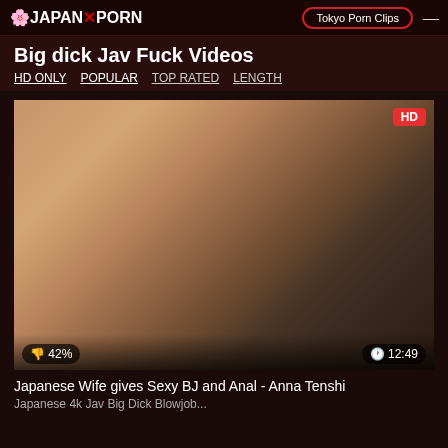JAPANXPORN | Tokyo Porn Clips
Big dick Jav Fuck Videos
HD ONLY  POPULAR  TOP RATED  LENGTH
[Figure (screenshot): Video thumbnail showing explicit adult content with HD badge, 42% rating, and 12:49 duration]
Japanese Wife gives Sexy BJ and Anal - Anna Tenshi
Japanese 4k Jav Big Dick Blowjob...